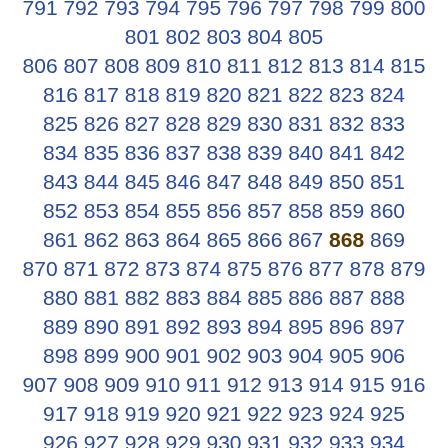791 792 793 794 795 796 797 798 799 800 801 802 803 804 805 806 807 808 809 810 811 812 813 814 815 816 817 818 819 820 821 822 823 824 825 826 827 828 829 830 831 832 833 834 835 836 837 838 839 840 841 842 843 844 845 846 847 848 849 850 851 852 853 854 855 856 857 858 859 860 861 862 863 864 865 866 867 868 869 870 871 872 873 874 875 876 877 878 879 880 881 882 883 884 885 886 887 888 889 890 891 892 893 894 895 896 897 898 899 900 901 902 903 904 905 906 907 908 909 910 911 912 913 914 915 916 917 918 919 920 921 922 923 924 925 926 927 928 929 930 931 932 933 934 935 936 937 938 939 940 941 942 943 944 945 946 947 948 949 950 951 952 953 954 955 956 957 958 959 960 961 962 963 964 965 966 967 968 969 970 971 972 973 974 975 976 977 978 979 980 981 982 983 984 985 986 987 988 989